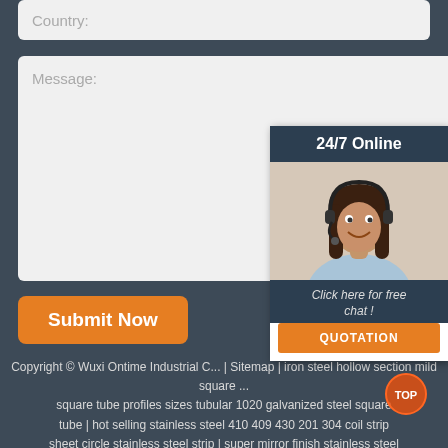Country:
Message:
Submit Now
[Figure (photo): 24/7 Online chat widget with a woman wearing a headset, dark header, and orange QUOTATION button. Tagline: Click here for free chat!]
Copyright © Wuxi Ontime Industrial C... | Sitemap | iron steel hollow section mild square ... square tube profiles sizes tubular 1020 galvanized steel square tube | hot selling stainless steel 410 409 430 201 304 coil strip sheet circle stainless steel strip | super mirror finish stainless steel sheet 316 in